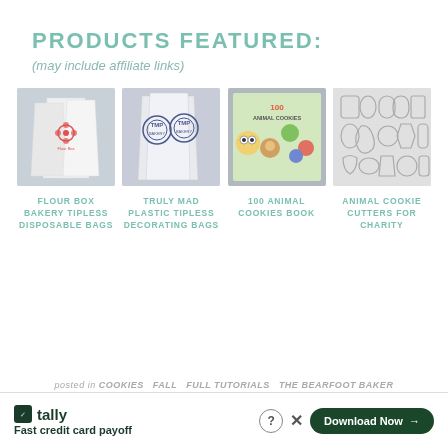PRODUCTS FEATURED:
(may include affiliate links)
[Figure (photo): Four product images in a grid: Flour Box Bakery tipless disposable bags, Truly Mad Plastics tipless decorating bags, 100 Animal Cookies Book cover, Animal cookie cutters]
FLOUR BOX BAKERY TIPLESS DISPOSABLE BAGS
TRULY MAD PLASTIC TIPLESS DECORATING BAGS
100 ANIMAL COOKIES BOOK
ANIMAL COOKIE CUTTERS FOR CHARITY
posted in COOKIES  FALL  FULL TUTORIALS  THE BEARFOOT BAKER
Tally Fast credit card payoff Download Now →